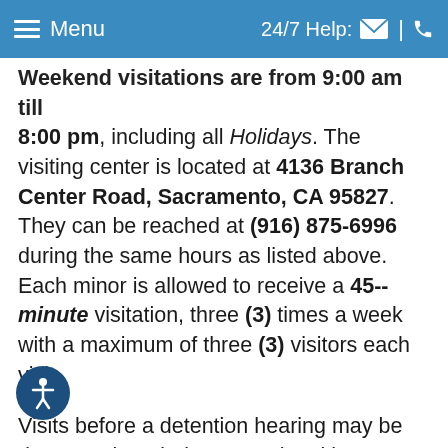Menu | 24/7 Help:
Weekend visitations are from 9:00 am till 8:00 pm, including all Holidays. The visiting center is located at 4136 Branch Center Road, Sacramento, CA 95827. They can be reached at (916) 875-6996 during the same hours as listed above. Each minor is allowed to receive a 45--minute visitation, three (3) times a week with a maximum of three (3) visitors each visit. Visits before a detention hearing may be done anytime during operational hours at the visiting center. Visits after court hearings may be done only during the week (Mon. – Fri.)